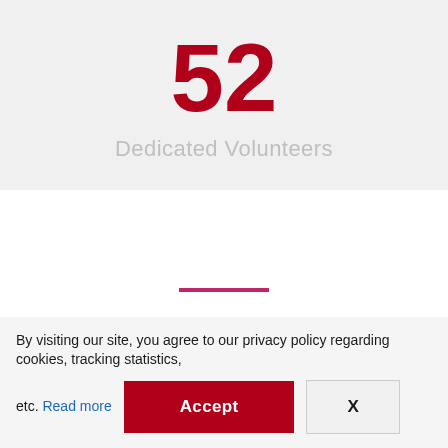52
Dedicated Volunteers
EXPEDITING MMT
By visiting our site, you agree to our privacy policy regarding cookies, tracking statistics, etc. Read more
Accept
X